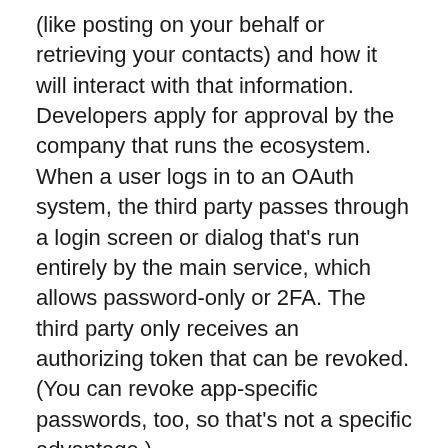(like posting on your behalf or retrieving your contacts) and how it will interact with that information. Developers apply for approval by the company that runs the ecosystem. When a user logs in to an OAuth system, the third party passes through a login screen or dialog that's run entirely by the main service, which allows password-only or 2FA. The third party only receives an authorizing token that can be revoked. (You can revoke app-specific passwords, too, so that's not a specific advantage.)
OAuth lets a service like Google identify each third-party developer with a unique ID, and tokens are issued for users bound to that ID. Thus, as with the recent attack in which a ne'er-do-well created a fake app called Google Docs, once discovered, Google can shut down all associated tokens without